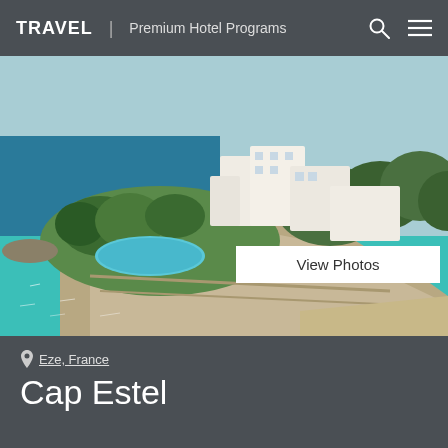TRAVEL | Premium Hotel Programs
[Figure (photo): Aerial view of Cap Estel hotel on a rocky peninsula in Eze, France, surrounded by turquoise Mediterranean sea water, with a pool and white buildings visible]
View Photos
Eze, France
Cap Estel